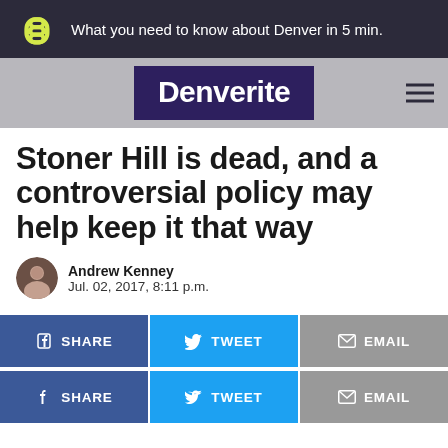What you need to know about Denver in 5 min.
[Figure (logo): Denverite logo with chain-link icon and site name 'Denverite']
Stoner Hill is dead, and a controversial policy may help keep it that way
Andrew Kenney
Jul. 02, 2017, 8:11 p.m.
SHARE | TWEET | EMAIL
SHARE | TWEET | EMAIL